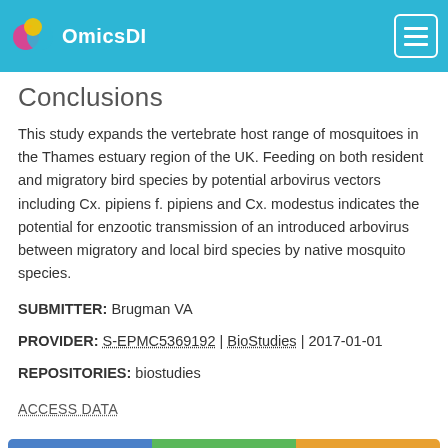OmicsDI
Conclusions
This study expands the vertebrate host range of mosquitoes in the Thames estuary region of the UK. Feeding on both resident and migratory bird species by potential arbovirus vectors including Cx. pipiens f. pipiens and Cx. modestus indicates the potential for enzootic transmission of an introduced arbovirus between migratory and local bird species by native mosquito species.
SUBMITTER: Brugman VA
PROVIDER: S-EPMC5369192 | BioStudies | 2017-01-01
REPOSITORIES: biostudies
ACCESS DATA